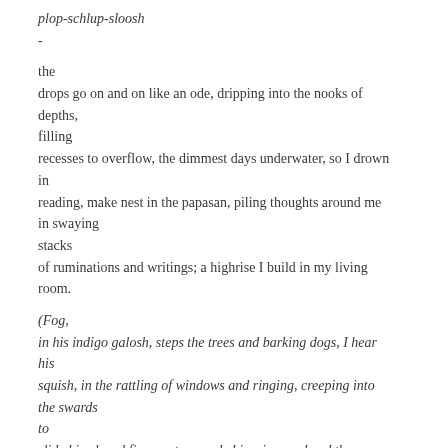plop-schlup-sloosh
-

the
drops go on and on like an ode, dripping into the nooks of depths,
filling
recesses to overflow, the dimmest days underwater, so I drown in
reading, make nest in the papasan, piling thoughts around me in swaying
stacks
of ruminations and writings; a highrise I build in my living room.

(Fog,
in his indigo galosh, steps the trees and barking dogs, I hear his
squish, in the rattling of windows and ringing, creeping into the swards
to
slide his gloved fingers, to parade his mirages, bend the lecturing air,